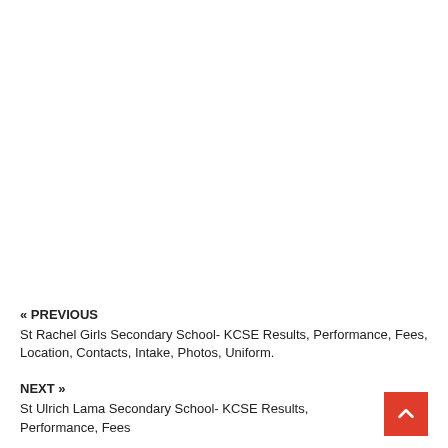« PREVIOUS
St Rachel Girls Secondary School- KCSE Results, Performance, Fees, Location, Contacts, Intake, Photos, Uniform.
NEXT »
St Ulrich Lama Secondary School- KCSE Results, Performance, Fees...